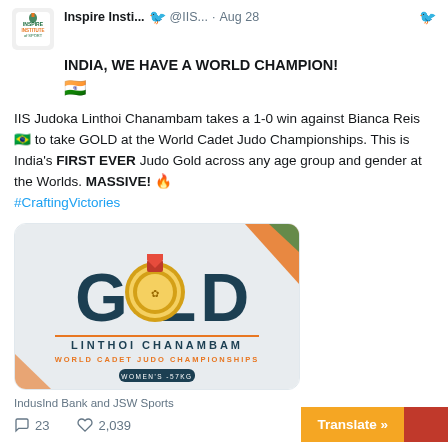Inspire Insti... @IIS... · Aug 28
INDIA, WE HAVE A WORLD CHAMPION! 🇮🇳
IIS Judoka Linthoi Chanambam takes a 1-0 win against Bianca Reis 🇧🇷 to take GOLD at the World Cadet Judo Championships. This is India's FIRST EVER Judo Gold across any age group and gender at the Worlds. MASSIVE! 🔥 #CraftingVictories
[Figure (photo): Gold medal graphic with text GOLD, LINTHOI CHANAMBAM, WORLD CADET JUDO CHAMPIONSHIPS, WOMEN'S -57KG]
IndusInd Bank and JSW Sports
💬 23   ♡ 2,039
Translate »